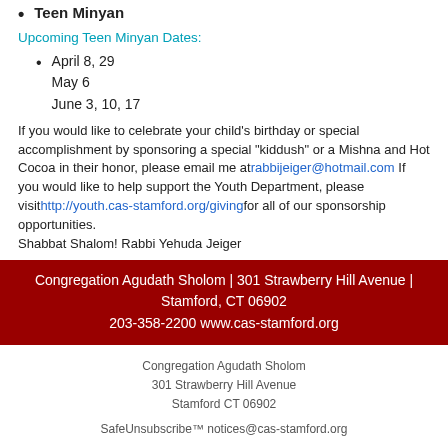Teen Minyan
Upcoming Teen Minyan Dates:
April 8, 29
May 6
June 3, 10, 17
If you would like to celebrate your child's birthday or special accomplishment by sponsoring a special "kiddush" or a Mishna and Hot Cocoa in their honor, please email me at rabbijeiger@hotmail.com If you would like to help support the Youth Department, please visit http://youth.cas-stamford.org/giving for all of our sponsorship opportunities.
Shabbat Shalom! Rabbi Yehuda Jeiger
Congregation Agudath Sholom | 301 Strawberry Hill Avenue | Stamford, CT 06902
203-358-2200 www.cas-stamford.org
Congregation Agudath Sholom
301 Strawberry Hill Avenue
Stamford CT 06902
SafeUnsubscribe™ notices@cas-stamford.org